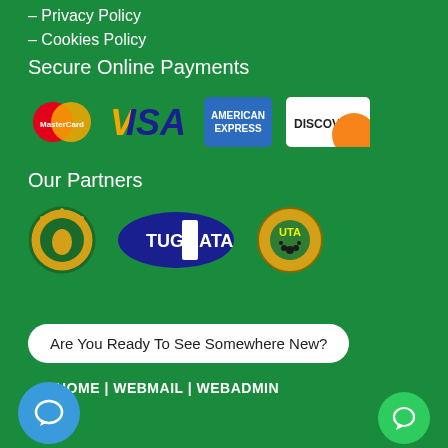– Privacy Policy
– Cookies Policy
Secure Online Payments
[Figure (logo): Payment logos: MasterCard, VISA, American Express, Discover]
Our Partners
[Figure (logo): Partner logos: African union-style circular logo, TUG ATA oval logo, UTA circular logo]
Are You Ready To See Somewhere New?
HOME | WEBMAIL | WEBADMIN